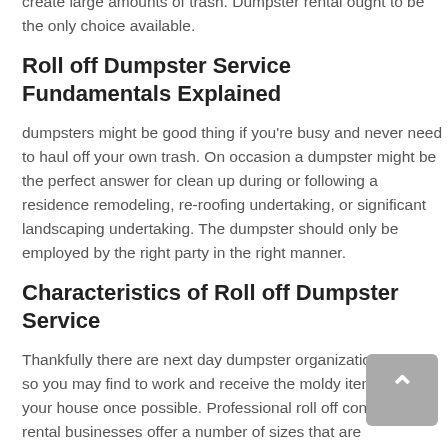create large amounts of trash. Dumpster rental ought to be the only choice available.
Roll off Dumpster Service Fundamentals Explained
dumpsters might be good thing if you're busy and never need to haul off your own trash. On occasion a dumpster might be the perfect answer for clean up during or following a residence remodeling, re-roofing undertaking, or significant landscaping undertaking. The dumpster should only be employed by the right party in the right manner.
Characteristics of Roll off Dumpster Service
Thankfully there are next day dumpster organizations to call so you may find to work and receive the moldy items out of your house once possible. Professional roll off container rental businesses offer a number of sizes that are customized for your